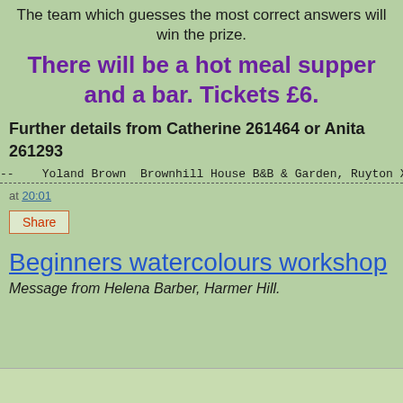The team which guesses the most correct answers will win the prize.
There will be a hot meal supper and a bar. Tickets £6.
Further details from Catherine 261464 or Anita 261293
-- Yoland Brown Brownhill House B&B & Garden, Ruyton X
at 20:01
Share
Beginners watercolours workshop
Message from Helena Barber, Harmer Hill.